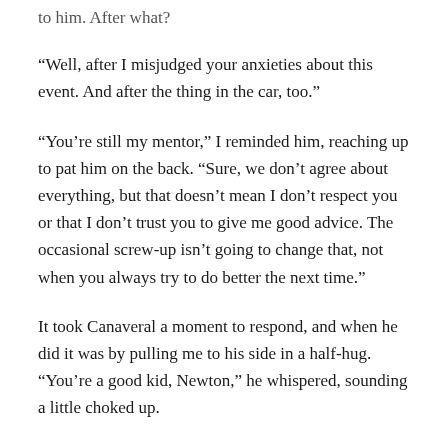to him. After what?
“Well, after I misjudged your anxieties about this event. And after the thing in the car, too.”
“You’re still my mentor,” I reminded him, reaching up to pat him on the back. “Sure, we don’t agree about everything, but that doesn’t mean I don’t respect you or that I don’t trust you to give me good advice. The occasional screw-up isn’t going to change that, not when you always try to do better the next time.”
It took Canaveral a moment to respond, and when he did it was by pulling me to his side in a half-hug. “You’re a good kid, Newton,” he whispered, sounding a little choked up.